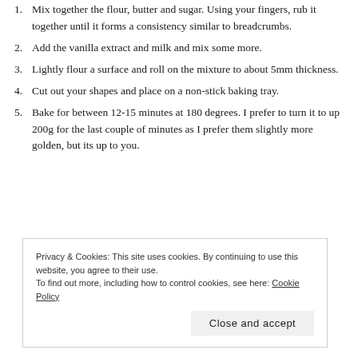1. Mix together the flour, butter and sugar. Using your fingers, rub it together until it forms a consistency similar to breadcrumbs.
2. Add the vanilla extract and milk and mix some more.
3. Lightly flour a surface and roll on the mixture to about 5mm thickness.
4. Cut out your shapes and place on a non-stick baking tray.
5. Bake for between 12-15 minutes at 180 degrees. I prefer to turn it to up 200g for the last couple of minutes as I prefer them slightly more golden, but its up to you.
Privacy & Cookies: This site uses cookies. By continuing to use this website, you agree to their use. To find out more, including how to control cookies, see here: Cookie Policy
Close and accept